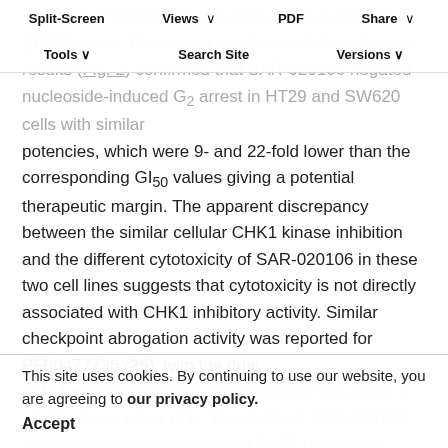Split-Screen   Views   PDF   Share
Tools   Search Site   Versions
induction of mitosis was quantified in a cell-based ELISA assay. These data together with the cell cycle results (Fig. 2) confirmed that SAR-020106 negated nucleoside-induced G2 arrest in HT29 and SW620 cells with similar potencies, which were 9- and 22-fold lower than the corresponding GI50 values giving a potential therapeutic margin. The apparent discrepancy between the similar cellular CHK1 kinase inhibition and the different cytotoxicity of SAR-020106 in these two cell lines suggests that cytotoxicity is not directly associated with CHK1 inhibitory activity. Similar checkpoint abrogation activity was reported for PF00477736 (25), with the dual
CHK1 and CHK2 kinase inhibitor AZD7762 giving a slightly lower value (24). The ability of SAR-020106 to potentiate the cytotoxicity of SN38 (the active metabolite of irinotecan, a topoisomerase 1 inhibitor) and gemcitabine
This site uses cookies. By continuing to use our website, you are agreeing to our privacy policy.
Accept